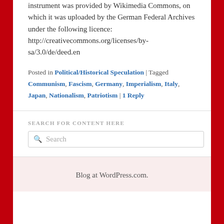instrument was provided by Wikimedia Commons, on which it was uploaded by the German Federal Archives under the following licence: http://creativecommons.org/licenses/by-sa/3.0/de/deed.en
Posted in Political/Historical Speculation | Tagged Communism, Fascism, Germany, Imperialism, Italy, Japan, Nationalism, Patriotism | 1 Reply
SEARCH FOR CONTENT HERE
Search
Blog at WordPress.com.